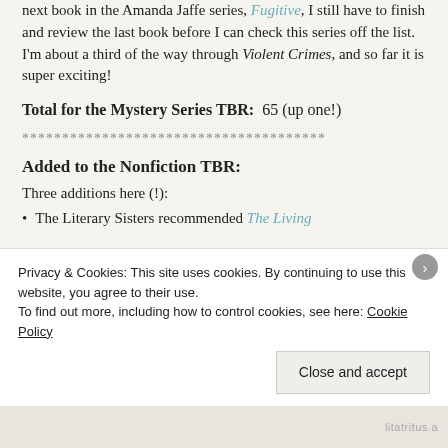next book in the Amanda Jaffe series, Fugitive, I still have to finish and review the last book before I can check this series off the list.  I'm about a third of the way through Violent Crimes, and so far it is super exciting!
Total for the Mystery Series TBR:  65 (up one!)
**************************************
Added to the Nonfiction TBR:
Three additions here (!):
The Literary Sisters recommended The Living
Privacy & Cookies: This site uses cookies. By continuing to use this website, you agree to their use. To find out more, including how to control cookies, see here: Cookie Policy
Close and accept